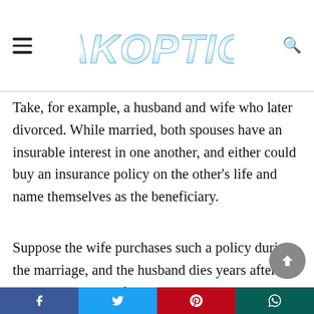PAKOPTION
Take, for example, a husband and wife who later divorced. While married, both spouses have an insurable interest in one another, and either could buy an insurance policy on the other’s life and name themselves as the beneficiary.
Suppose the wife purchases such a policy during the marriage, and the husband dies years after the divorce. The ex-wife can still collect the death benefit even if she no longer has an insurable interest in her ex-husband (as long as their divorce settlement didn’t include any provisions that might
Facebook  Twitter  Pinterest  WhatsApp